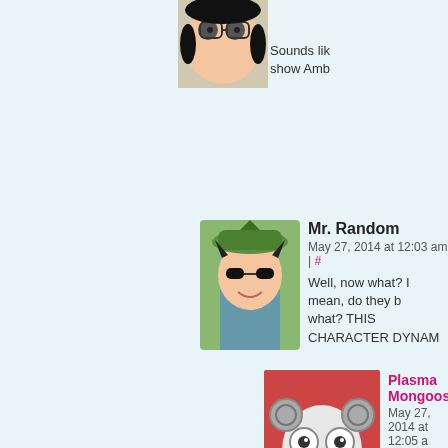[Figure (photo): Partial avatar of a cartoon female character with glasses and dark hair, top right corner]
Sounds lik show Amb
[Figure (illustration): Avatar of Mr. Random - cartoon character with green hat and dark hair]
Mr. Random
May 27, 2014 at 12:03 am | #
Well, now what? I mean, do they b what? THIS CHARACTER DYNAM
[Figure (illustration): Avatar of Plasma Mongoose - cartoon character on red background with large eyes]
Plasma Mongoose
May 27, 2014 at 12:05 a
Will Dotty become Ma
[Figure (photo): Avatar of Opus the Poet - photo of bald man with bicycle on red background]
Opus the Poet
May 27, 2014 at 12:
Who is showing in computer it looks
[Figure (illustration): Partial avatar of Plasma Mongoose at bottom right]
Plasma Mor
May 27, 2014 at